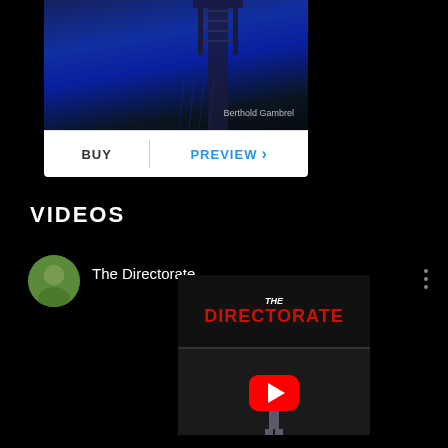[Figure (screenshot): Album artwork showing a dark blue and black scene with a tower structure and text 'Berthold Gambrel']
BUY
PREVIEW
VIDEOS
[Figure (screenshot): YouTube video entry showing avatar of person, title 'The Directorate', and video thumbnail with THE DIRECTORATE text and YouTube play button]